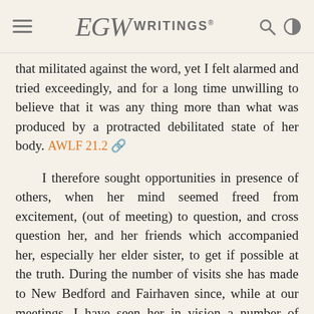EGW WRITINGS®
that militated against the word, yet I felt alarmed and tried exceedingly, and for a long time unwilling to believe that it was any thing more than what was produced by a protracted debilitated state of her body. AWLF 21.2
I therefore sought opportunities in presence of others, when her mind seemed freed from excitement, (out of meeting) to question, and cross question her, and her friends which accompanied her, especially her elder sister, to get if possible at the truth. During the number of visits she has made to New Bedford and Fairhaven since, while at our meetings, I have seen her in vision a number of times, and also in Topsham, Me., and those who were present during some of these exciting scenes